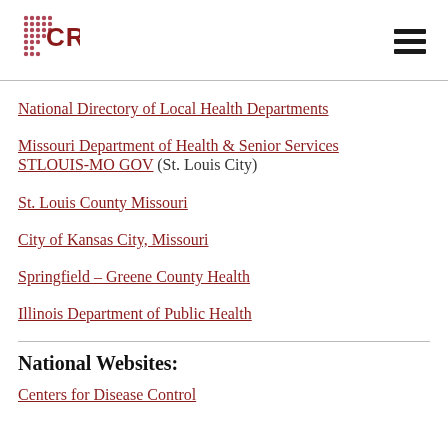CRANE
National Directory of Local Health Departments
Missouri Department of Health & Senior Services
STLOUIS-MO GOV (St. Louis City)
St. Louis County Missouri
City of Kansas City, Missouri
Springfield – Greene County Health
Illinois Department of Public Health
National Websites:
Centers for Disease Control